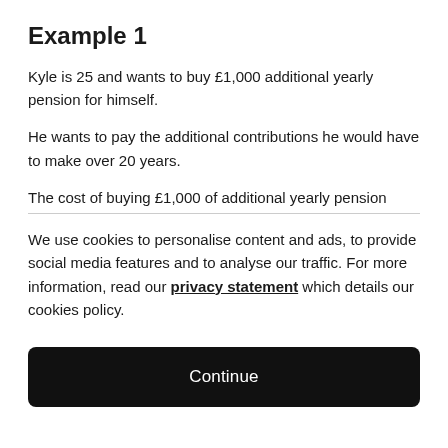Example 1
Kyle is 25 and wants to buy £1,000 additional yearly pension for himself.
He wants to pay the additional contributions he would have to make over 20 years.
The cost of buying £1,000 of additional yearly pension
We use cookies to personalise content and ads, to provide social media features and to analyse our traffic. For more information, read our privacy statement which details our cookies policy.
Continue